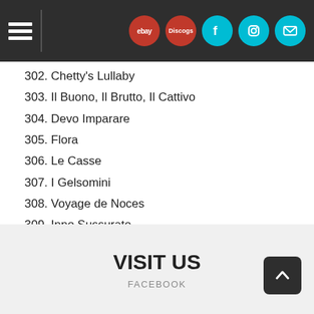Navigation bar with hamburger menu, eBay, Discogs, Facebook, Instagram, and mail icons
302. Chetty's Lullaby
303. Il Buono, Il Brutto, Il Cattivo
304. Devo Imparare
305. Flora
306. Le Casse
307. I Gelsomini
308. Voyage de Noces
309. Inno Sussurato
MORE INFO:
Deluxe 14CD boxset - the second volume in the series honoring the legendary Ennio Morricone.
VISIT US
FACEBOOK